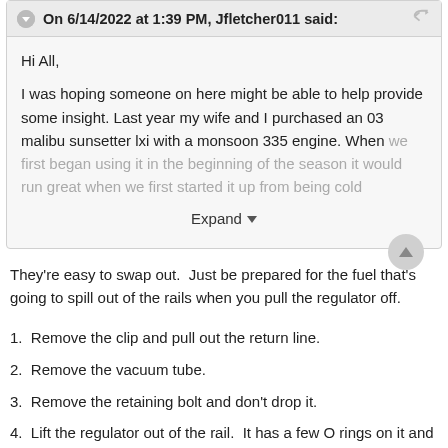On 6/14/2022 at 1:39 PM, Jfletcher011 said:
Hi All,

I was hoping someone on here might be able to help provide some insight. Last year my wife and I purchased an 03 malibu sunsetter lxi with a monsoon 335 engine. When we first began using it in the beginning of the season it would run great when we first started it up from being cold
Expand
They're easy to swap out.  Just be prepared for the fuel that's going to spill out of the rails when you pull the regulator off.
1.  Remove the clip and pull out the return line.
2.  Remove the vacuum tube.
3.  Remove the retaining bolt and don't drop it.
4.  Lift the regulator out of the rail.  It has a few O rings on it and might take a little work to get loose.